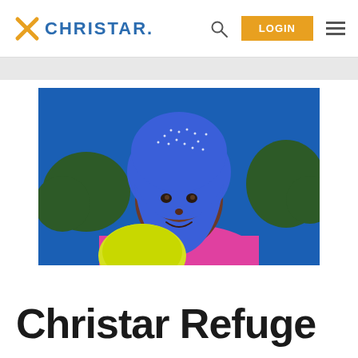CHRISTAR. LOGIN
[Figure (photo): Young girl wearing a blue hijab with decorative white dots, holding a yellow ball, wearing a pink shirt, smiling at camera with trees and blue sky in background]
Christar Refuge